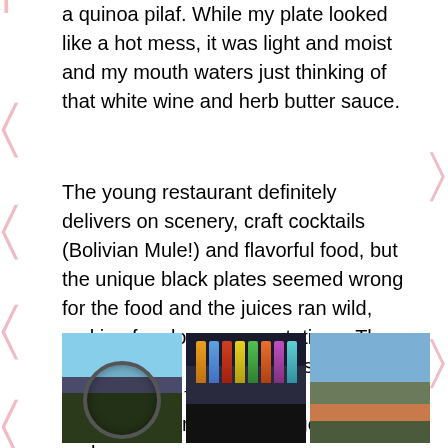a quinoa pilaf. While my plate looked like a hot mess, it was light and moist and my mouth waters just thinking of that white wine and herb butter sauce.
The young restaurant definitely delivers on scenery, craft cocktails (Bolivian Mule!) and flavorful food, but the unique black plates seemed wrong for the food and the juices ran wild, making for sloppy presentations. They were also out of three things when we went: a wine, flatbread, and skirt steak so make reservations and get there early.
[Figure (photo): Three photos: left shows a decorative metal globe sculpture at sunset with dark landscape and blue sky; center shows a backlit bar with colorful bottles glowing on shelves and people below; right shows a scenic view of red rock formations (Sedona) at dusk with blue sky.]